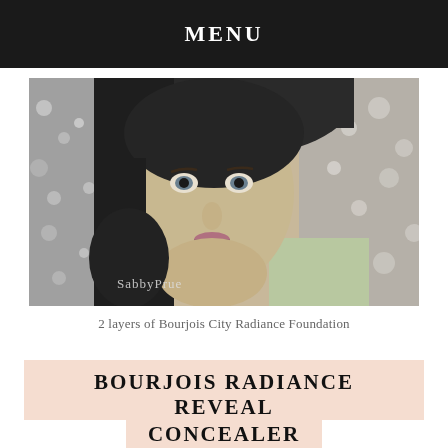MENU
[Figure (photo): Close-up portrait of a woman wearing a black hijab, looking directly at camera, with bokeh sparkle background. Watermark text 'SabbyPrue' in lower left corner.]
2 layers of Bourjois City Radiance Foundation
BOURJOIS RADIANCE REVEAL CONCEALER